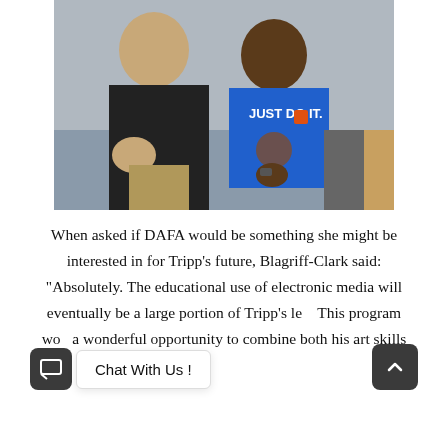[Figure (photo): Two people posing together indoors; one wearing a black shirt, the other wearing a blue Nike 'Just Do It' t-shirt, seated with hands clasped, with office furniture in the background.]
When asked if DAFA would be something she might be interested in for Tripp's future, Blagriff-Clark said: “Absolutely. The educational use of electronic media will eventually be a large portion of Tripp’s le... This program would be a wonderful opportunity to combine both his art skills